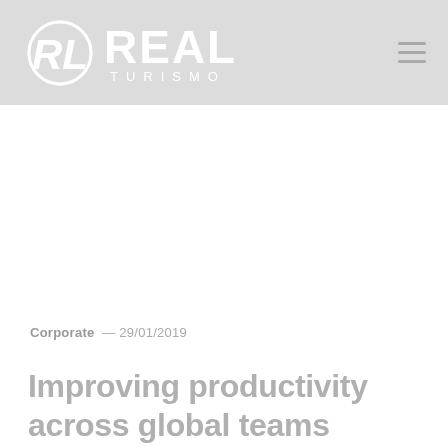REAL TURISMO
Corporate — 29/01/2019
Improving productivity across global teams